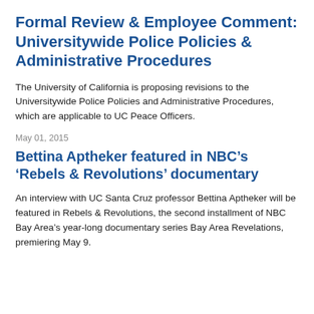Formal Review & Employee Comment: Universitywide Police Policies & Administrative Procedures
The University of California is proposing revisions to the Universitywide Police Policies and Administrative Procedures, which are applicable to UC Peace Officers.
May 01, 2015
Bettina Aptheker featured in NBC’s ‘Rebels & Revolutions’ documentary
An interview with UC Santa Cruz professor Bettina Aptheker will be featured in Rebels & Revolutions, the second installment of NBC Bay Area’s year-long documentary series Bay Area Revelations, premiering May 9.